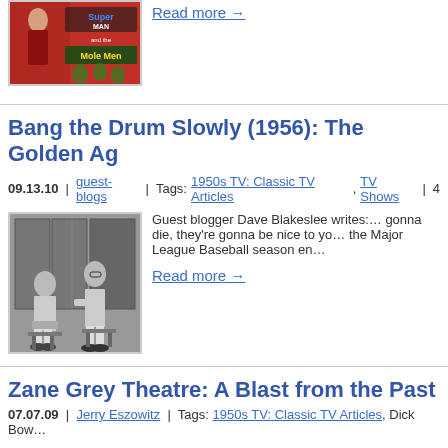[Figure (photo): Movie poster for Superman and the Mole Men, showing a woman figure and stylized text]
Read more →
Bang the Drum Slowly (1956): The Golden Ag…
09.13.10  |  guest-blogs  |  Tags: 1950s TV: Classic TV Articles, TV Shows  |  4…
[Figure (photo): Black and white photo of two baseball players in a locker room sitting on stools]
Guest blogger Dave Blakeslee writes:… gonna die, they're gonna be nice to yo… the Major League Baseball season en…
Read more →
Zane Grey Theatre: A Blast from the Past
07.07.09  |  Jerry Eszowitz  |  Tags: 1950s TV: Classic TV Articles, Dick Bow…